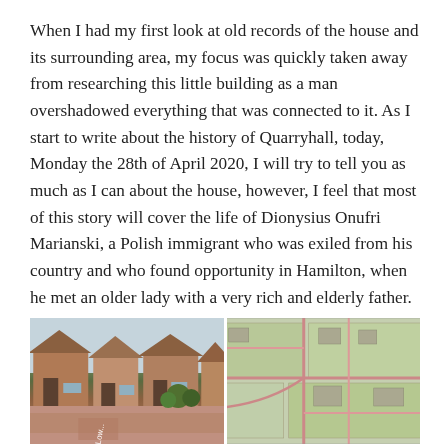When I had my first look at old records of the house and its surrounding area, my focus was quickly taken away from researching this little building as a man overshadowed everything that was connected to it. As I start to write about the history of Quarryhall, today, Monday the 28th of April 2020, I will try to tell you as much as I can about the house, however, I feel that most of this story will cover the life of Dionysius Onufri Marianski, a Polish immigrant who was exiled from his country and who found opportunity in Hamilton, when he met an older lady with a very rich and elderly father.
[Figure (photo): Street-level photo of a residential area showing houses and a road]
[Figure (map): Aerial/satellite map view showing roads and land parcels]